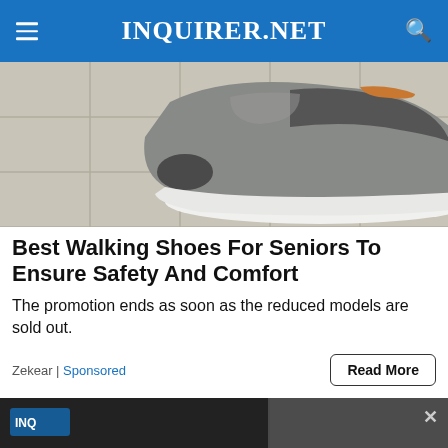INQUIRER.NET
[Figure (photo): Close-up photo of a person wearing a gray and black walking shoe/sneaker on a light tile floor]
Best Walking Shoes For Seniors To Ensure Safety And Comfort
The promotion ends as soon as the reduced models are sold out.
Zekear | Sponsored
[Figure (screenshot): Video player overlay showing 'No place for political violence' in US: Biden headline. Error message: The media could not be loaded, either because the server or network failed or because the format is not supported.]